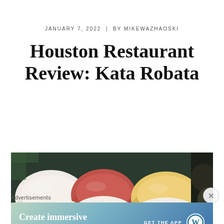JANUARY 7, 2022  |  BY MIKEWAZHAOSKI
Houston Restaurant Review: Kata Robata
[Figure (photo): Close-up photo of sushi pieces including fish nigiri (white fish, tuna/salmon, and yellow fish) on a dark plate]
Advertisements
[Figure (infographic): WordPress advertisement banner: 'Create immersive stories.' with 'GET THE APP' call to action and WordPress logo]